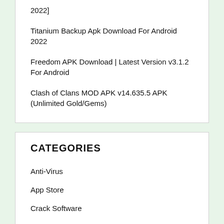2022]
Titanium Backup Apk Download For Android 2022
Freedom APK Download | Latest Version v3.1.2 For Android
Clash of Clans MOD APK v14.635.5 APK (Unlimited Gold/Gems)
CATEGORIES
Anti-Virus
App Store
Crack Software